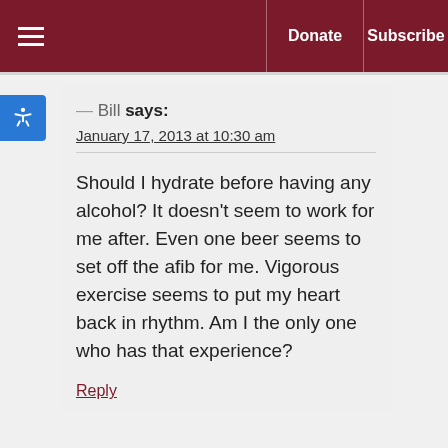≡  Donate  Subscribe
— Bill says:
January 17, 2013 at 10:30 am
Should I hydrate before having any alcohol? It doesn't seem to work for me after. Even one beer seems to set off the afib for me. Vigorous exercise seems to put my heart back in rhythm. Am I the only one who has that experience?
Reply